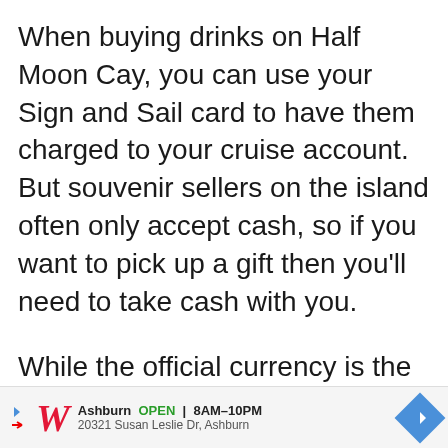When buying drinks on Half Moon Cay, you can use your Sign and Sail card to have them charged to your cruise account. But souvenir sellers on the island often only accept cash, so if you want to pick up a gift then you'll need to take cash with you.
While the official currency is the Bahamian dollar, you should be fine paying with US dollars. The straw market on the island definitely acc[epts]...
[Figure (other): Advertisement banner for Walgreens: Ashburn OPEN 8AM-10PM, 20321 Susan Leslie Dr, Ashburn, with Walgreens logo and navigation arrow icon]